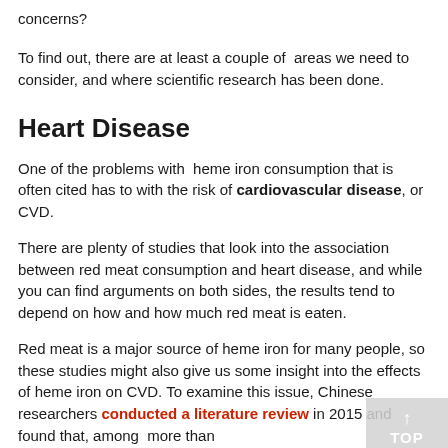concerns?
To find out, there are at least a couple of areas we need to consider, and where scientific research has been done.
Heart Disease
One of the problems with heme iron consumption that is often cited has to with the risk of cardiovascular disease, or CVD.
There are plenty of studies that look into the association between red meat consumption and heart disease, and while you can find arguments on both sides, the results tend to depend on how and how much red meat is eaten.
Red meat is a major source of heme iron for many people, so these studies might also give us some insight into the effects of heme iron on CVD. To examine this issue, Chinese researchers conducted a literature review in 2015 and found that, among more than